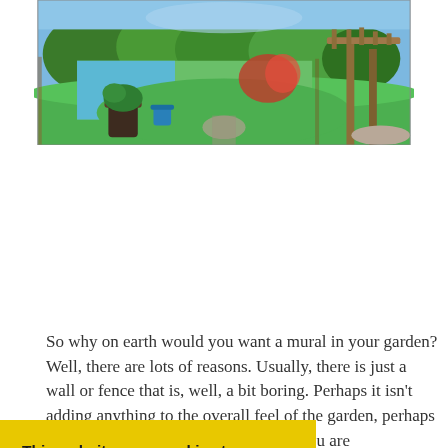[Figure (photo): Photograph of a garden with green lawn, a large colourful mural/artwork on a fence, potted plants, and a wooden pergola structure on the right, with trees in the background.]
So why on earth would you want a mural in your garden? Well, there are lots of reasons. Usually, there is just a wall or fence that is, well, a bit boring. Perhaps it isn't adding anything to the overall feel of the garden, perhaps it is in full view of your window and you are [you are] [you that you] [ock) and so] [ur garden] [suddenly very] [move to a] new house for whatever reason and so choose to
This website uses cookies to improve your experience. Let us know if you are OK with this, but you can opt-out if you wish. Cookie settings ACCEPT